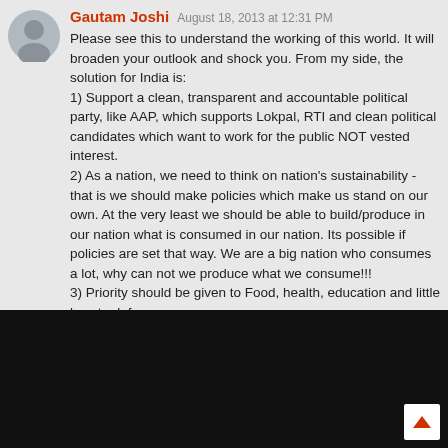Gautam Joshi  August 18, 2013 at 12:31 PM
Please see this to understand the working of this world. It will broaden your outlook and shock you. From my side, the solution for India is:
1) Support a clean, transparent and accountable political party, like AAP, which supports Lokpal, RTI and clean political candidates which want to work for the public NOT vested interest.
2) As a nation, we need to think on nation's sustainability - that is we should make policies which make us stand on our own. At the very least we should be able to build/produce in our nation what is consumed in our nation. Its possible if policies are set that way. We are a big nation who consumes a lot, why can not we produce what we consume!!!
3) Priority should be given to Food, health, education and little less to defense.
[Figure (screenshot): Black video player area at the bottom of the page]